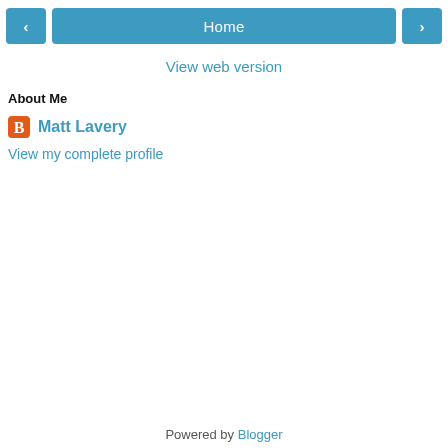< Home >
View web version
About Me
Matt Lavery
View my complete profile
Powered by Blogger